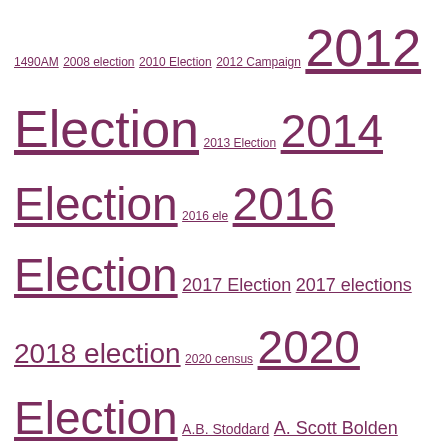1490AM 2008 election 2010 Election 2012 Campaign 2012 Election 2013 Election 2014 Election 2016 ele 2016 Election 2017 Election 2017 elections 2018 election 2020 census 2020 Election A.B. Stoddard A. Scott Bolden Aaron Blake Aaron MacGruder AARP Abby Huntsman Abby Phillip ABC ABC News Abigail Tracy Abner Louima Abner Mosaase Abolish ICE abortion Abraham Lincoln Abraham Lincoln gay academia Academy Awards Access Hollywood Accidental Racist accuser Acela Primary ACLU Adam Landerman Adam Lanza Adam Schiff Adam Silver Adele Malpass Adi Gallia Adolf Hitler adoption Adrian Fenty Advancement Project advertising affair affirmative action affluenza Affordable Care Act Afghanistan Africa African-American African-American women African American baby names African American voter turnout African National Congress Afro-American Afro-Germans AIDS AIPAC air force airlines airport security air traffic controllers Akhil Amar Akron Alabama Alabama Crimson Tide Alabama primary